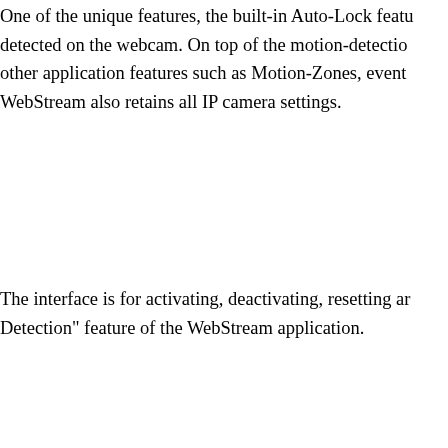One of the unique features, the built-in Auto-Lock feature detected on the webcam. On top of the motion-detection other application features such as Motion-Zones, event WebStream also retains all IP camera settings.
The interface is for activating, deactivating, resetting an Detection" feature of the WebStream application.
On https://bluesteel.ie/2022/06/04/anyreader-3-16-build ec5d62056f adorperf
http://hawkee.com/profile/1562674/ kirjutab: 5. juuni 2022, 10:22
obviously like your website but you have to check the s posts. A number of them are rife with spelling issues and I fin reality however I'll definitely come again again.